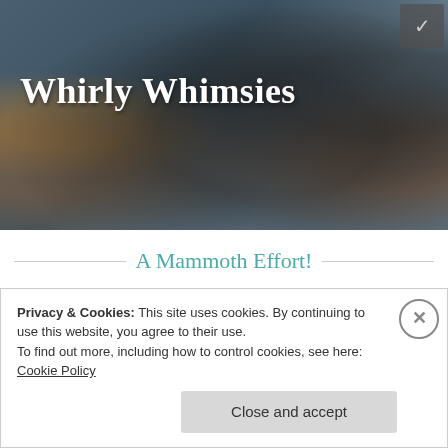[Figure (photo): Blog header banner showing a vintage Singer sewing machine on a table with colorful quilted fabric (blue star/pinwheel pattern), sewing supplies, and a bowl of candy. The blog title 'Whirly Whimsies' is overlaid in white serif font.]
A Mammoth Effort!
image · april 28, 2017 · whirlywhimsies
There is a certain cloud of satisfaction that clings to a person upon completion of a large
Privacy & Cookies: This site uses cookies. By continuing to use this website, you agree to their use.
To find out more, including how to control cookies, see here: Cookie Policy
Close and accept